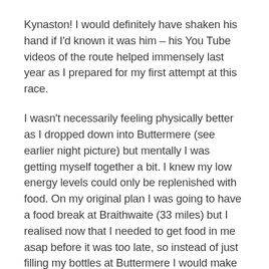Kynaston! I would definitely have shaken his hand if I'd known it was him – his You Tube videos of the route helped immensely last year as I prepared for my first attempt at this race.
I wasn't necessarily feeling physically better as I dropped down into Buttermere (see earlier night picture) but mentally I was getting myself together a bit. I knew my low energy levels could only be replenished with food. On my original plan I was going to have a food break at Braithwaite (33 miles) but I realised now that I needed to get food in me asap before it was too late, so instead of just filling my bottles at Buttermere I would make a point of stopping and eating.
It was also noticeable that I was still catching and